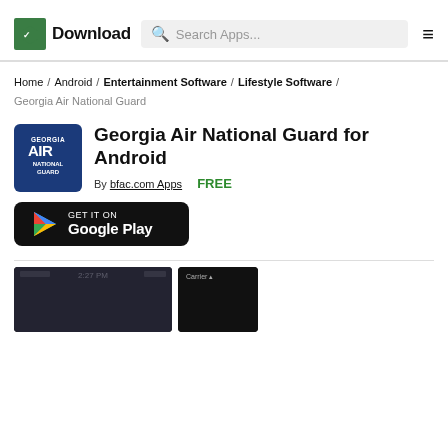Download — Search Apps...
Home / Android / Entertainment Software / Lifestyle Software / Georgia Air National Guard
Georgia Air National Guard for Android
By bfac.com Apps   FREE
[Figure (logo): Get it on Google Play badge]
[Figure (screenshot): App screenshot showing phone screen at 2:27 PM]